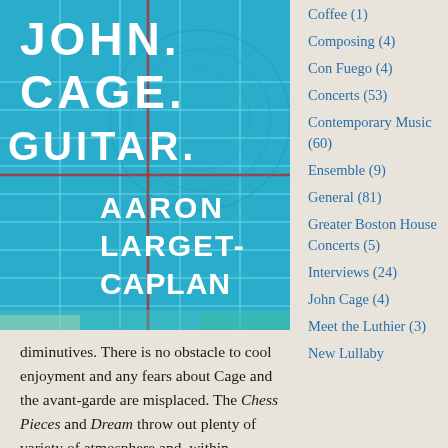[Figure (illustration): Book cover for 'John. Cage. Guitar.' by Aaron Larget-Caplan. Teal/blue grid pattern background with white bold text for title and author name. Red vertical and horizontal lines cross the cover. A circular guitar headstock watermark is visible.]
diminutives. There is no obstacle to cool enjoyment and any fears about Cage and the avant-garde are misplaced. The Chess Pieces and Dream throw out plenty of variety of atmosphere and, within
Coffee (1)
Composing (4)
Con Fuego (4)
Concerts (53)
Contemporary Music (60)
Ensemble (9)
General (81)
Greater Boston House Concerts (5)
Interviews (24)
John Cage (4)
Meet the Luthier (3)
New Lullaby